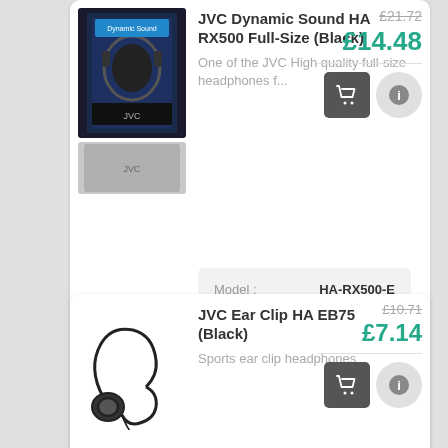[Figure (photo): JVC Dynamic Sound headphones product image and thumbnail]
JVC Dynamic Sound HA RX500 Full-Size (Black)
One of the JVC High quality full-size headphones f...
| Model : | HA-RX500-E |
| Brand : | JVC |
£21.72
£14.48
[Figure (photo): JVC Ear Clip HA EB75 Black earphones product image]
JVC Ear Clip HA EB75 (Black)
Sports ear clip headphones
£10.71
£7.14